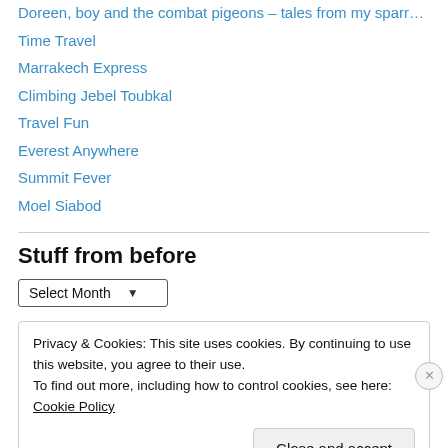Doreen, boy and the combat pigeons – tales from my sparrow farm (truncated)
Time Travel
Marrakech Express
Climbing Jebel Toubkal
Travel Fun
Everest Anywhere
Summit Fever
Moel Siabod
Stuff from before
Select Month (dropdown)
Privacy & Cookies: This site uses cookies. By continuing to use this website, you agree to their use.
To find out more, including how to control cookies, see here: Cookie Policy
Close and accept